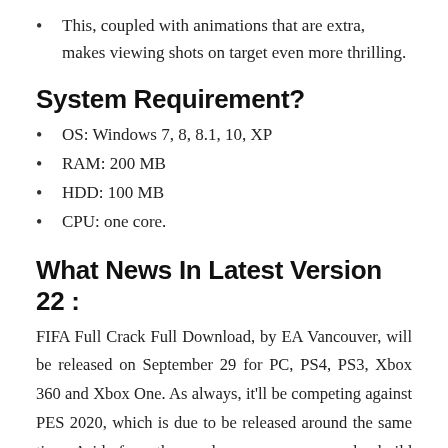This, coupled with animations that are extra, makes viewing shots on target even more thrilling.
System Requirement?
OS: Windows 7, 8, 8.1, 10, XP
RAM: 200 MB
HDD: 100 MB
CPU: one core.
What News In Latest Version 22 :
FIFA Full Crack Full Download, by EA Vancouver, will be released on September 29 for PC, PS4, PS3, Xbox 360 and Xbox One. As always, it'll be competing against PES 2020, which is due to be released around the same time. Aside from the regular games, you can also build your own team on Ultimate Team. Here, thanks to the famous FIFA game system, you can manage your dream team